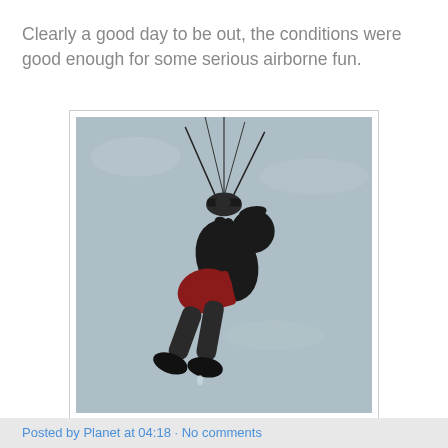Clearly a good day to be out, the conditions were good enough for some serious airborne fun.
[Figure (photo): A person kitesurfing airborne, suspended by kite lines against a grey overcast sky. The kitesurfer is in silhouette wearing red shorts and dark top, body arched back with feet below and kite lines visible above.]
Posted by Planet at 04:18 · No comments